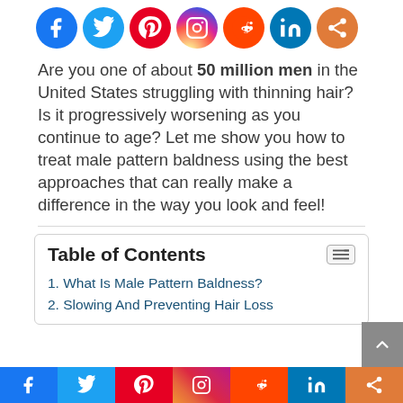[Figure (infographic): Row of social media share icons (Facebook, Twitter, Pinterest, Instagram, Reddit, LinkedIn, Share) as colored circles]
Are you one of about 50 million men in the United States struggling with thinning hair? Is it progressively worsening as you continue to age? Let me show you how to treat male pattern baldness using the best approaches that can really make a difference in the way you look and feel!
| Table of Contents |
| --- |
| 1. What Is Male Pattern Baldness? |
| 2. Slowing And Preventing Hair Loss |
[Figure (infographic): Bottom social media share bar with Facebook, Twitter, Pinterest, Instagram, Reddit, LinkedIn, and Share buttons in colored blocks]